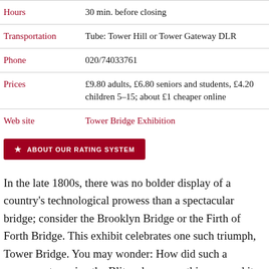|  |  |
| --- | --- |
| Hours | 30 min. before closing |
| Transportation | Tube: Tower Hill or Tower Gateway DLR |
| Phone | 020/74033761 |
| Prices | £9.80 adults, £6.80 seniors and students, £4.20 children 5–15; about £1 cheaper online |
| Web site | Tower Bridge Exhibition |
ABOUT OUR RATING SYSTEM
In the late 1800s, there was no bolder display of a country's technological prowess than a spectacular bridge; consider the Brooklyn Bridge or the Firth of Forth Bridge. This exhibit celebrates one such triumph, Tower Bridge. You may wonder: How did such a monument survive the Blitz when everything around it got flattened?